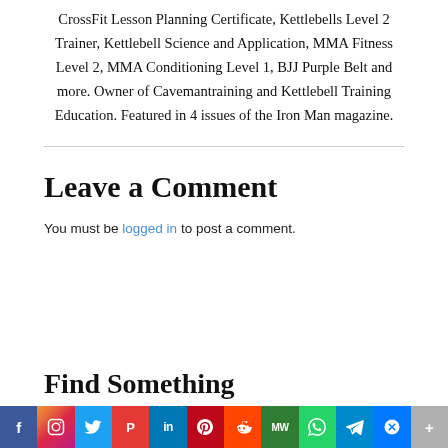CrossFit Lesson Planning Certificate, Kettlebells Level 2 Trainer, Kettlebell Science and Application, MMA Fitness Level 2, MMA Conditioning Level 1, BJJ Purple Belt and more. Owner of Cavemantraining and Kettlebell Training Education. Featured in 4 issues of the Iron Man magazine.
Leave a Comment
You must be logged in to post a comment.
Find Something